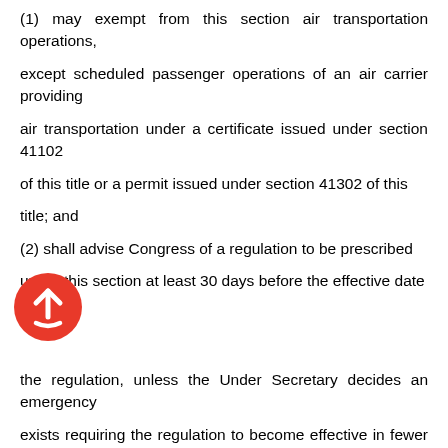(1) may exempt from this section air transportation operations,
except scheduled passenger operations of an air carrier providing
air transportation under a certificate issued under section 41102
of this title or a permit issued under section 41302 of this
title; and
(2) shall advise Congress of a regulation to be prescribed
under this section at least 30 days before the effective date
[Figure (illustration): Red circular icon with white cloud and upward arrow, indicating upload or submit action]
the regulation, unless the Under Secretary decides an emergency
exists requiring the regulation to become effective in fewer than
30 days and notifies Congress of that decision